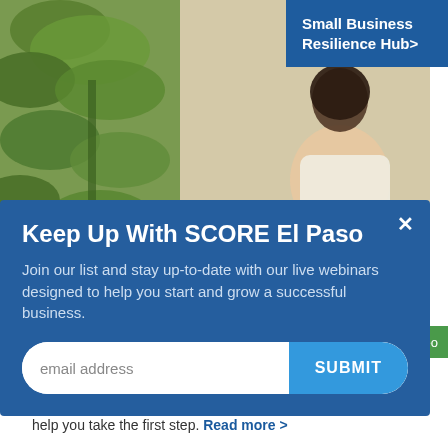[Figure (photo): Background photo of a woman sitting at a desk with a laptop in a cafe or office with green plants, overlaid with a blue popup modal]
Small Business Resilience Hub>
Keep Up With SCORE El Paso
Join our list and stay up-to-date with our live webinars designed to help you start and grow a successful business.
email address
SUBMIT
deo
Article Language: English
Are you ready to become a solopreneur? Watch this video to help you take the first step. Read more >